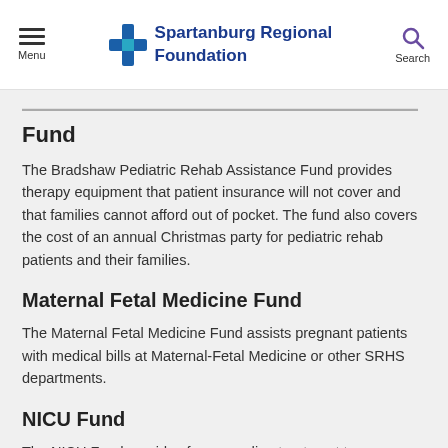Menu | Spartanburg Regional Foundation | Search
Fund
The Bradshaw Pediatric Rehab Assistance Fund provides therapy equipment that patient insurance will not cover and that families cannot afford out of pocket. The fund also covers the cost of an annual Christmas party for pediatric rehab patients and their families.
Maternal Fetal Medicine Fund
The Maternal Fetal Medicine Fund assists pregnant patients with medical bills at Maternal-Fetal Medicine or other SRHS departments.
NICU Fund
The NICU Fund provides...